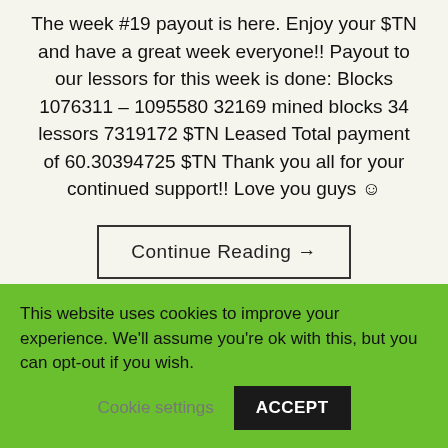The week #19 payout is here. Enjoy your $TN and have a great week everyone!! Payout to our lessors for this week is done: Blocks 1076311 – 1095580 32169 mined blocks 34 lessors 7319172 $TN Leased Total payment of 60.30394725 $TN Thank you all for your continued support!! Love you guys ☺
Continue Reading →
This website uses cookies to improve your experience. We'll assume you're ok with this, but you can opt-out if you wish.
Cookie settings
ACCEPT